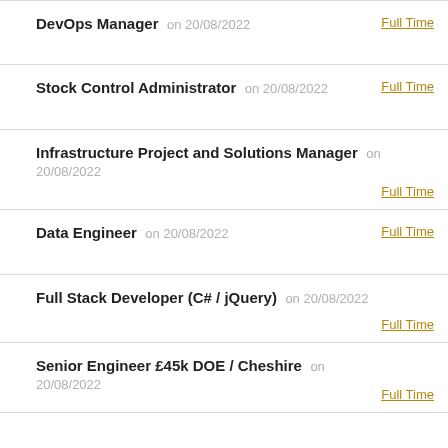DevOps Manager on 20/08/2022 Full Time
Stock Control Administrator on 20/08/2022 Full Time
Infrastructure Project and Solutions Manager on 20/08/2022 Full Time
Data Engineer on 20/08/2022 Full Time
Full Stack Developer (C# / jQuery) on 20/08/2022 Full Time
Senior Engineer £45k DOE / Cheshire on 20/08/2022 Full Time